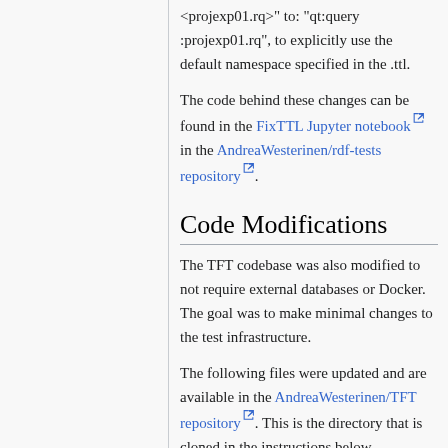<projexp01.rq>" to: "qt:query :projexp01.rq", to explicitly use the default namespace specified in the .ttl.
The code behind these changes can be found in the FixTTL Jupyter notebook in the AndreaWesterinen/rdf-tests repository.
Code Modifications
The TFT codebase was also modified to not require external databases or Docker. The goal was to make minimal changes to the test infrastructure.
The following files were updated and are available in the AndreaWesterinen/TFT repository. This is the directory that is cloned in the instructions below.
config.ini